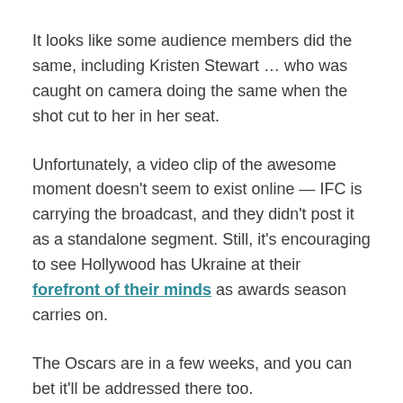It looks like some audience members did the same, including Kristen Stewart … who was caught on camera doing the same when the shot cut to her in her seat.
Unfortunately, a video clip of the awesome moment doesn't seem to exist online — IFC is carrying the broadcast, and they didn't post it as a standalone segment. Still, it's encouraging to see Hollywood has Ukraine at their forefront of their minds as awards season carries on.
The Oscars are in a few weeks, and you can bet it'll be addressed there too.
This article was originally published by Tmz.com. Read the original article here.